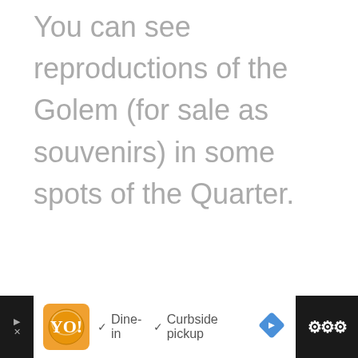You can see reproductions of the Golem (for sale as souvenirs) in some spots of the Quarter.
[Figure (other): Advertisement bar at bottom: orange restaurant logo, checkmarks for Dine-in and Curbside pickup, blue navigation diamond icon, dark strip with Waze-style icon on right]